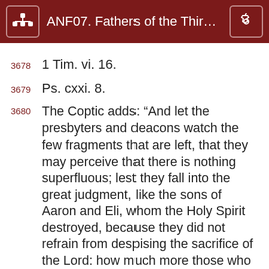ANF07. Fathers of the Third a…
3678    1 Tim. vi. 16.
3679    Ps. cxxi. 8.
3680    The Coptic adds: “And let the presbyters and deacons watch the few fragments that are left, that they may perceive that there is nothing superfluous; lest they fall into the great judgment, like the sons of Aaron and Eli, whom the Holy Spirit destroyed, because they did not refrain from despising the sacrifice of the Lord: how much more those who despise the body and blood of the Lord, thinking that to be merely material food which they receive, and not spiritual!”
3681    The Coptic inserts, “when they have